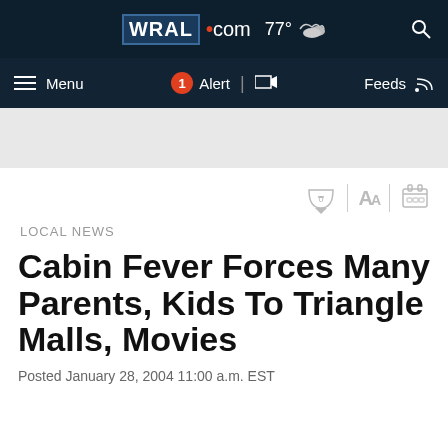WRAL.com  77°  Menu  1 Alert  Feeds
LOCAL NEWS
Cabin Fever Forces Many Parents, Kids To Triangle Malls, Movies
Posted January 28, 2004 11:00 a.m. EST